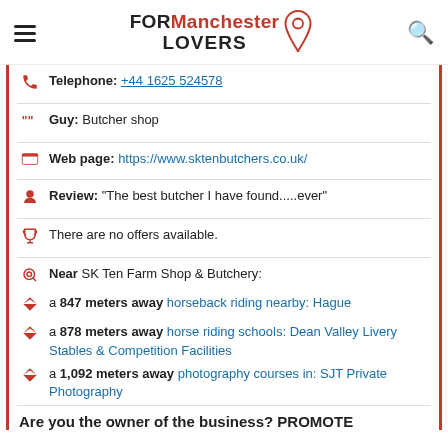FORManchester LOVERS
Telephone: +44 1625 524578
Guy: Butcher shop
Web page: https://www.sktenbutchers.co.uk/
Review: "The best butcher I have found.....ever"
There are no offers available.
Near SK Ten Farm Shop & Butchery:
a 847 meters away horseback riding nearby: Hague
a 878 meters away horse riding schools: Dean Valley Livery Stables & Competition Facilities
a 1,092 meters away photography courses in: SJT Private Photography
Are you the owner of the business? PROMOTE